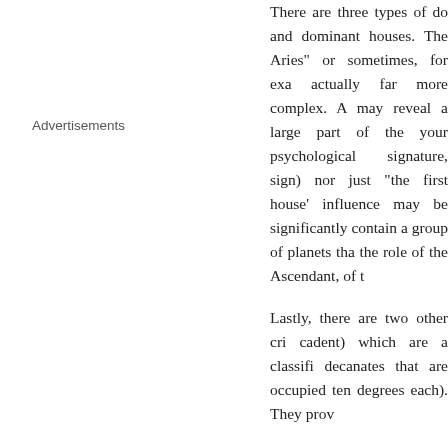Advertisements
There are three types of do and dominant houses. The Aries" or sometimes, for exa actually far more complex. A may reveal a large part of the your psychological signature, sign) nor just "the first house" influence may be significantly contain a group of planets tha the role of the Ascendant, of t
Lastly, there are two other cri cadent) which are a classifi decanates that are occupied ten degrees each). They prov
These general character tra somehow, preparing for the d second part of the analysis, w on every area of the personal mentioned parameters acco